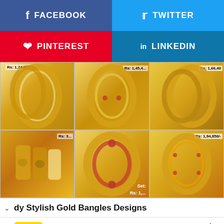[Figure (screenshot): Social media sharing buttons: Facebook (blue), Twitter (cyan), Pinterest (red), LinkedIn (blue)]
[Figure (photo): Grid of 6 gold bangle product images with price tags including Rs: 1,66,40 and Rs: 1,94,850/-]
dy Stylish Gold Bangles Designs
[Figure (screenshot): Advertisement for Hair Cuttery salon with HC logo and navigation icon. Title: Your Everything Salon. Subtitle: Hair Cuttery]